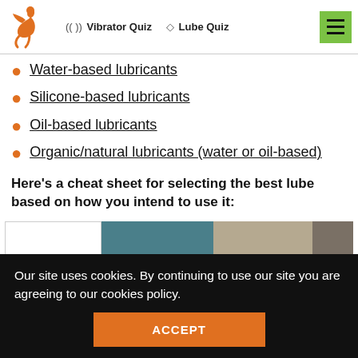Vibrator Quiz  Lube Quiz
Water-based lubricants
Silicone-based lubricants
Oil-based lubricants
Organic/natural lubricants (water or oil-based)
Here's a cheat sheet for selecting the best lube based on how you intend to use it:
[Figure (table-as-image): Color-coded table header strip with four columns in white, teal, tan, and dark grey]
Our site uses cookies. By continuing to use our site you are agreeing to our cookies policy.